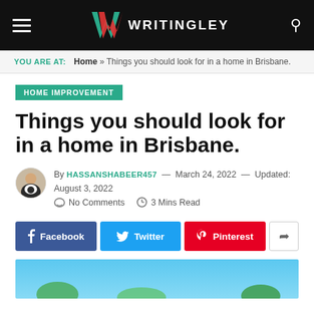WRITINGLEY
YOU ARE AT: Home » Things you should look for in a home in Brisbane.
HOME IMPROVEMENT
Things you should look for in a home in Brisbane.
By HASSANSHABEER457 — March 24, 2022 — Updated: August 3, 2022  No Comments  3 Mins Read
[Figure (screenshot): Social sharing buttons: Facebook, Twitter, Pinterest, and a share icon button]
[Figure (photo): Partial photo visible at bottom of page, showing blue sky and trees, likely a Brisbane home image]